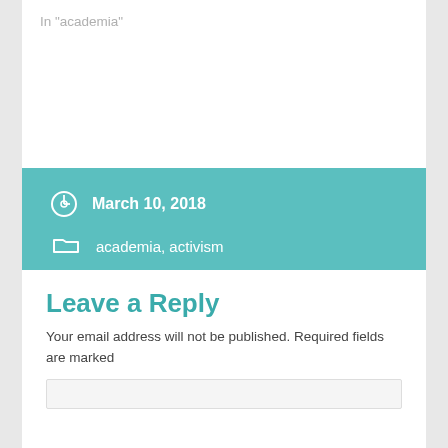In "academia"
March 10, 2018
academia, activism
IAM what IAM – on models, muddles and human failure.
Of Aristotle, courage and #ussstrikes
Leave a Reply
Your email address will not be published. Required fields are marked